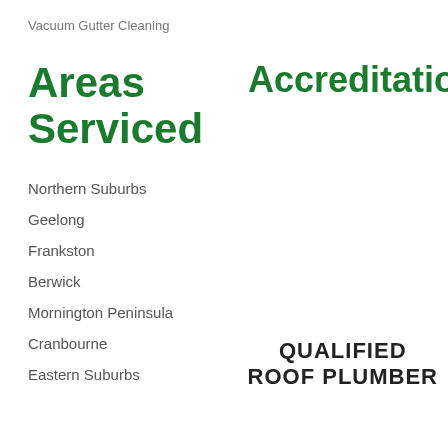Vacuum Gutter Cleaning
Areas Serviced
Accreditation
Northern Suburbs
Geelong
Frankston
Berwick
Mornington Peninsula
Cranbourne
Eastern Suburbs
QUALIFIED ROOF PLUMBER